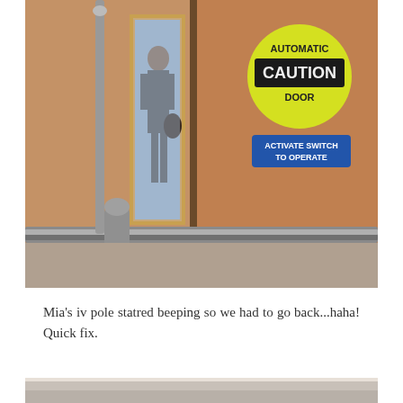[Figure (photo): Hospital automatic door with brown wood surface, metal push bar, vertical window showing a person (Mia) standing outside, and a yellow circular 'AUTOMATIC CAUTION DOOR' sign and a blue rectangular 'ACTIVATE SWITCH TO OPERATE' sign on the upper right of the door.]
Mia's iv pole statred beeping so we had to go back...haha! Quick fix.
[Figure (photo): Partial bottom photo, cropped — only the very top portion visible, appears to show a light-colored surface.]